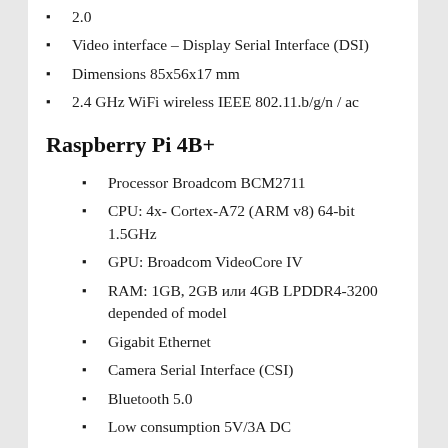2.0
Video interface – Display Serial Interface (DSI)
Dimensions 85x56x17 mm
2.4 GHz WiFi wireless IEEE 802.11.b/g/n / ac
Raspberry Pi 4B+
Processor Broadcom BCM2711
CPU: 4x- Cortex-A72 (ARM v8) 64-bit 1.5GHz
GPU: Broadcom VideoCore IV
RAM: 1GB, 2GB или 4GB LPDDR4-3200 depended of model
Gigabit Ethernet
Camera Serial Interface (CSI)
Bluetooth 5.0
Low consumption 5V/3A DC
MicroSD for operating system and data